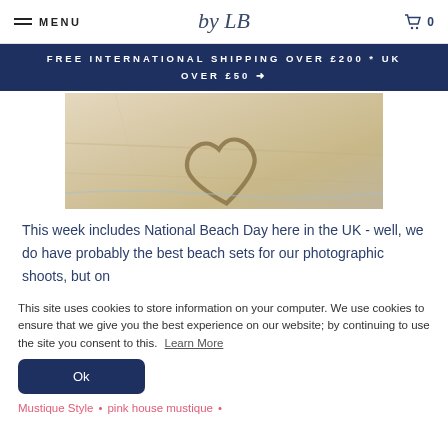MENU | by LB | 0
FREE INTERNATIONAL SHIPPING OVER £200 * UK OVER £50 ➜
[Figure (photo): A heart drawn in sand on a beach]
This week includes National Beach Day here in the UK - well, we do have probably the best beach sets for our photographic shoots, but on
This site uses cookies to store information on your computer. We use cookies to ensure that we give you the best experience on our website; by continuing to use the site you consent to this.
Learn More
Ok
Mustique Style • pink house mustique •